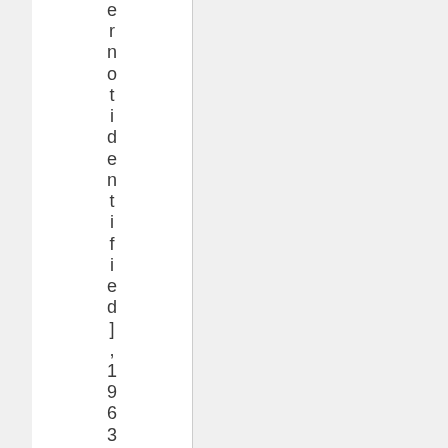ernotidentified], 1963-1983 1y